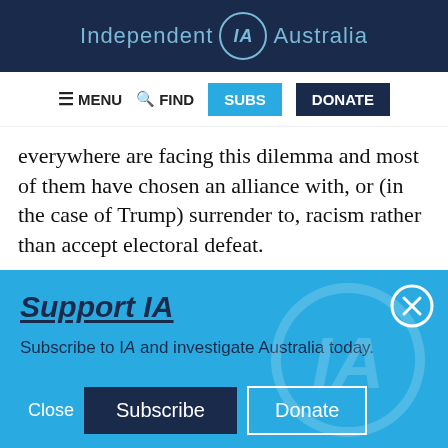Independent IA Australia
≡ MENU  🔍 FIND  SUBS  DONATE
everywhere are facing this dilemma and most of them have chosen an alliance with, or (in the case of Trump) surrender to, racism rather than accept electoral defeat.
Support IA
Subscribe to IA and investigate Australia today.
Close  Subscribe  Donate
Twitter  Facebook  LinkedIn  Flipboard  Link  Plus